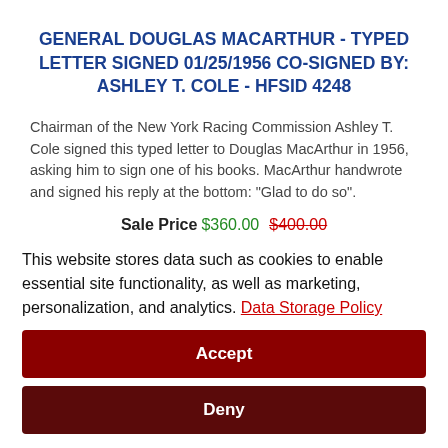GENERAL DOUGLAS MACARTHUR - TYPED LETTER SIGNED 01/25/1956 CO-SIGNED BY: ASHLEY T. COLE - HFSID 4248
Chairman of the New York Racing Commission Ashley T. Cole signed this typed letter to Douglas MacArthur in 1956, asking him to sign one of his books. MacArthur handwrote and signed his reply at the bottom: "Glad to do so".
Sale Price $360.00  $400.00
This website stores data such as cookies to enable essential site functionality, as well as marketing, personalization, and analytics. Data Storage Policy
Accept
Deny